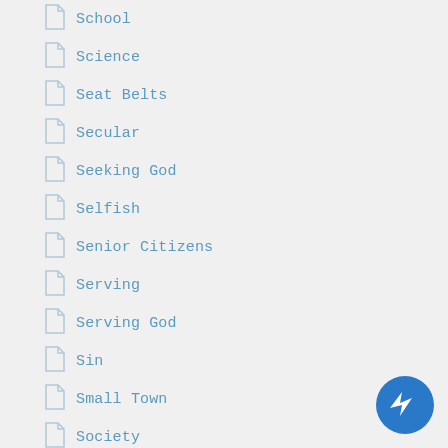School
Science
Seat Belts
Secular
Seeking God
Selfish
Senior Citizens
Serving
Serving God
Sin
Small Town
Society
Spirit Of God
Sports
[Figure (logo): Blue circular messenger/bolt icon in bottom right corner]